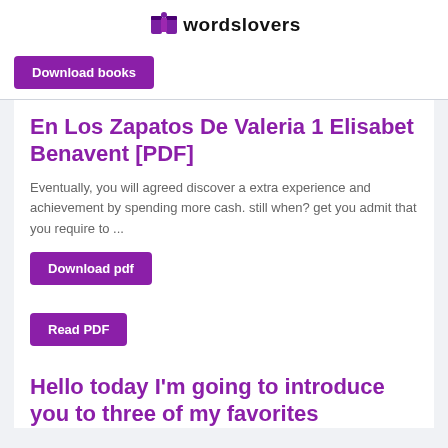wordslovers
Download books
En Los Zapatos De Valeria 1 Elisabet Benavent [PDF]
Eventually, you will agreed discover a extra experience and achievement by spending more cash. still when? get you admit that you require to ...
Download pdf
Read PDF
Hello today I'm going to introduce you to three of my favorites